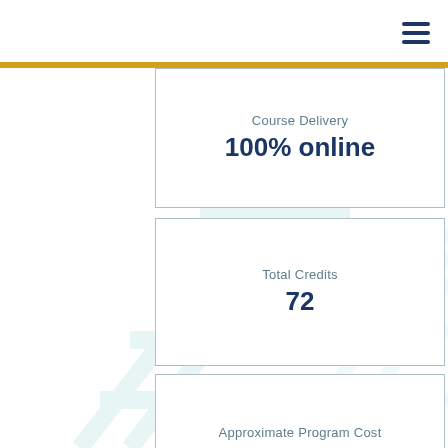[Figure (infographic): Light teal diagonal ladder/stripe watermark background graphic]
≡ (hamburger menu icon)
Course Delivery
100% online
Total Credits
72
Approximate Program Cost
$28,600
Apply Today